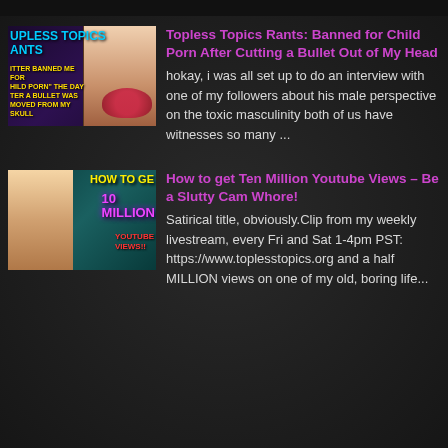[Figure (photo): Thumbnail for Topless Topics Rants video: text overlay on dark background with person holding flowers]
Topless Topics Rants: Banned for Child Porn After Cutting a Bullet Out of My Head
hokay, i was all set up to do an interview with one of my followers about his male perspective on the toxic masculinity both of us have witnesses so many ...
[Figure (photo): Thumbnail for How to get Ten Million Youtube Views video: person with excited expression, colorful text overlay]
How to get Ten Million Youtube Views – Be a Slutty Cam Whore!
Satirical title, obviously.Clip from my weekly livestream, every Fri and Sat 1-4pm PST: https://www.toplesstopics.org and a half MILLION views on one of my old, boring life...